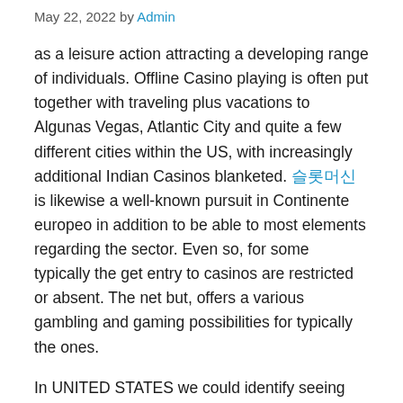May 22, 2022 by Admin
as a leisure action attracting a developing range of individuals. Offline Casino playing is often put together with traveling plus vacations to Algunas Vegas, Atlantic City and quite a few different cities within the US, with increasingly additional Indian Casinos blanketed. [link] is likewise a well-known pursuit in Continente europeo in addition to be able to most elements regarding the sector. Even so, for some typically the get entry to casinos are restricted or absent. The net but, offers a various gambling and gaming possibilities for typically the ones.
In UNITED STATES we could identify seeing